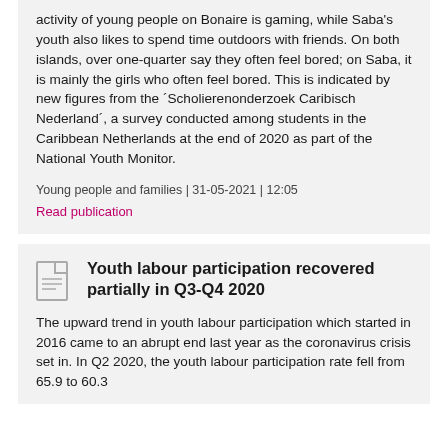activity of young people on Bonaire is gaming, while Saba's youth also likes to spend time outdoors with friends. On both islands, over one-quarter say they often feel bored; on Saba, it is mainly the girls who often feel bored. This is indicated by new figures from the ´Scholierenonderzoek Caribisch Nederland´, a survey conducted among students in the Caribbean Netherlands at the end of 2020 as part of the National Youth Monitor.
Young people and families | 31-05-2021 | 12:05
Read publication
Youth labour participation recovered partially in Q3-Q4 2020
The upward trend in youth labour participation which started in 2016 came to an abrupt end last year as the coronavirus crisis set in. In Q2 2020, the youth labour participation rate fell from 65.9 to 60.3